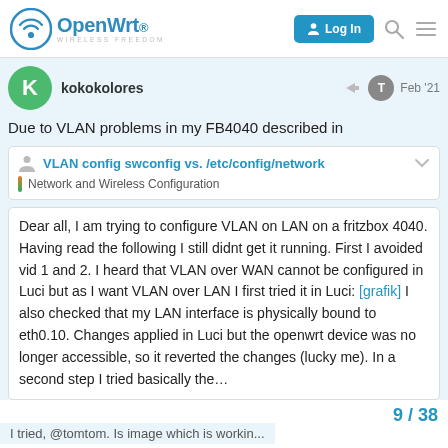OpenWrt — WIRELESS FREEDOM | Log In
kokokolores Feb '21
Due to VLAN problems in my FB4040 described in
VLAN config swconfig vs. /etc/config/network
Network and Wireless Configuration
Dear all, I am trying to configure VLAN on LAN on a fritzbox 4040. Having read the following I still didnt get it running. First I avoided vid 1 and 2. I heard that VLAN over WAN cannot be configured in Luci but as I want VLAN over LAN I first tried it in Luci: [grafik] I also checked that my LAN interface is physically bound to eth0.10. Changes applied in Luci but the openwrt device was no longer accessible, so it reverted the changes (lucky me). In a second step I tried basically the…
9 / 38
I tried, @tomtom. Is image which is workin...